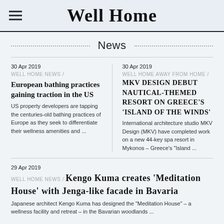Well Home
News
30 Apr 2019
WELL HOME NEWS /
European bathing practices gaining traction in the US
US property developers are tapping the centuries-old bathing practices of Europe as they seek to differentiate their wellness amenities and ...
30 Apr 2019
WELL HOME AWAY FROM HOME /
MKV Design debut nautical-themed resort on Greece's 'Island of the Winds'
International architecture studio MKV Design (MKV) have completed work on a new 44-key spa resort in Mykonos – Greece's "Island ...
29 Apr 2019
WELL HOME NEWS /
Kengo Kuma creates 'Meditation House' with Jenga-like facade in Bavaria
Japanese architect Kengo Kuma has designed the "Meditation House" – a wellness facility and retreat – in the Bavarian woodlands ...